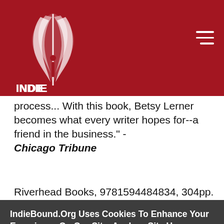IndieBound
process... With this book, Betsy Lerner becomes what every writer hopes for--a friend in the business." - Chicago Tribune
Riverhead Books, 9781594484834, 304pp.
IndieBound.Org Uses Cookies To Enhance Your Experience On Our Site, Analyze Site Usage, And Assist In Our Marketing Efforts. By Clicking Accept, You Agree To The Storing Of Cookies On Your Device. View Our Cookie Policy.
Give me more info
Accept all Cookies